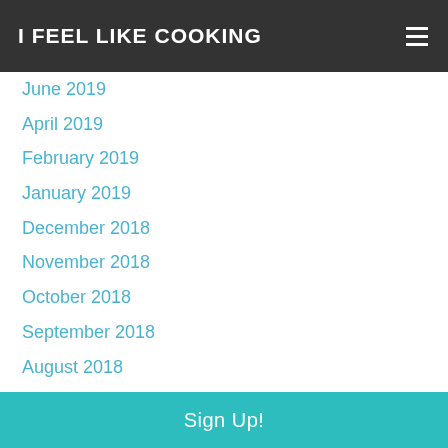I FEEL LIKE COOKING
June 2019
April 2019
February 2019
January 2019
December 2018
November 2018
October 2018
September 2018
August 2018
June 2018
May 2018
April 2018
March 2018
February 2018
December 2017
Sign Up!